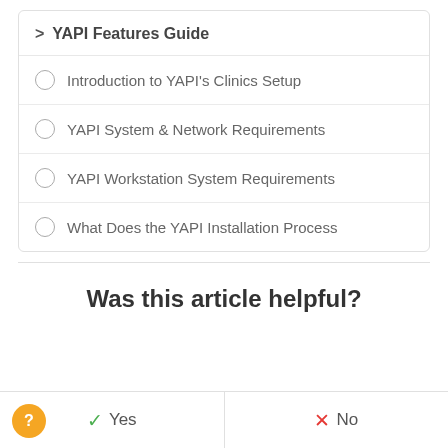> YAPI Features Guide
Introduction to YAPI's Clinics Setup
YAPI System & Network Requirements
YAPI Workstation System Requirements
What Does the YAPI Installation Process
Was this article helpful?
Yes
No